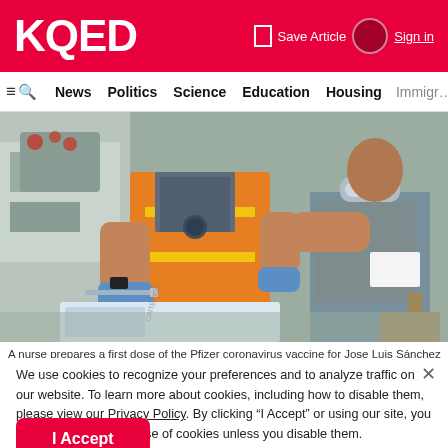KQED
Save Article  Sign in
News  Politics  Science  Education  Housing  Immigr…
[Figure (photo): A nurse in an orange safety vest and blue gloves prepares a vaccine syringe from a box, with a seated patient nearby wearing a mask.]
A nurse prepares a first dose of the Pfizer coronavirus vaccine for Jose Luis Sánchez at a clinic in
We use cookies to recognize your preferences and to analyze traffic on our website. To learn more about cookies, including how to disable them, please view our Privacy Policy. By clicking "I Accept" or using our site, you are consenting to the use of cookies unless you disable them.
I Accept